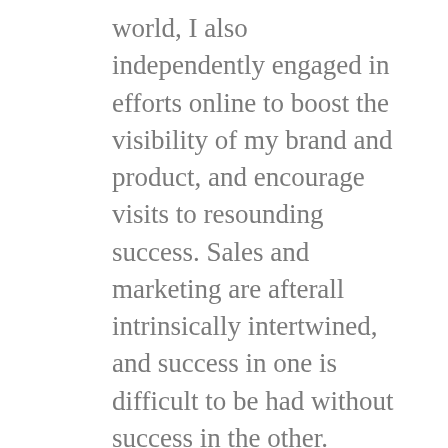world, I also independently engaged in efforts online to boost the visibility of my brand and product, and encourage visits to resounding success. Sales and marketing are afterall intrinsically intertwined, and success in one is difficult to be had without success in the other.
With this growing success, however, management began making ill-advised and often counter-productive investments. The same mistakes that previously led to their stagnation were being tried again, with renewed vigor. With my options for further advancement limited, and increasing interference with my endeavors from inexperienced superiors wanting to make names for themselves, I made the decision to